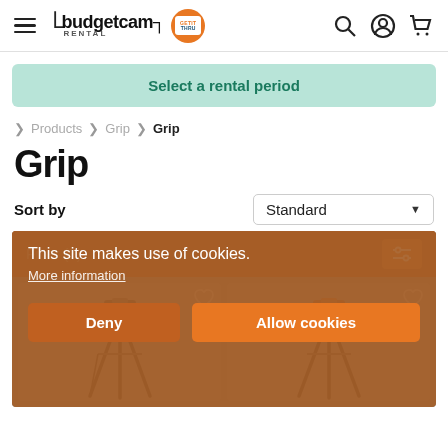budgetcam RENTAL — navigation header with hamburger menu, logo, search, user, cart icons
Select a rental period
> Products > Grip > Grip
Grip
Sort by   Standard
Filter (3)
This site makes use of cookies.
More information
Deny
Allow cookies